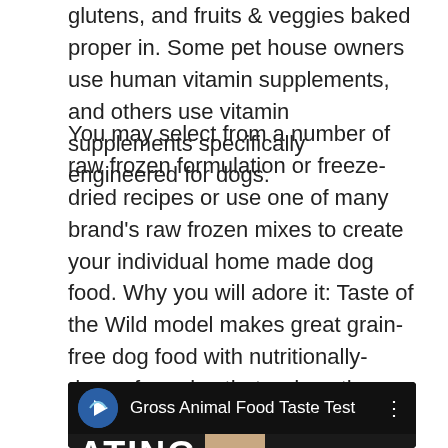glutens, and fruits & veggies baked proper in. Some pet house owners use human vitamin supplements, and others use vitamin supplements specifically engineered for dogs.
You may select from a number of raw frozen formulation or freeze-dried recipes or use one of many brand's raw frozen mixes to create your individual home made dog food. Why you will adore it: Taste of the Wild model makes great grain-free dog food with nutritionally-dense formulas that reduce the chance for food allergic reactions and sensitivities.
[Figure (screenshot): YouTube video thumbnail showing 'Gross Animal Food Taste Test' with a channel icon, video title, three-dot menu icon, and partial text 'EATING' with a close-up of a person's face on a black background.]